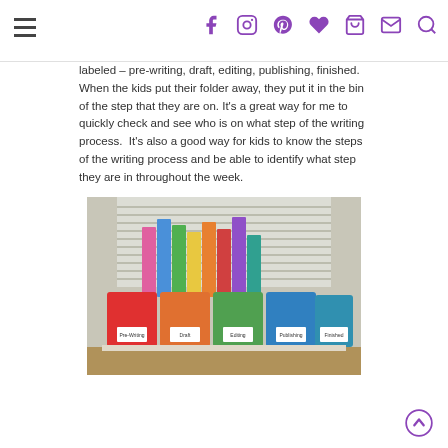Navigation header with hamburger menu and social media icons
labeled – pre-writing, draft, editing, publishing, finished.  When the kids put their folder away, they put it in the bin of the step that they are on. It's a great way for me to quickly check and see who is on what step of the writing process.  It's also a good way for kids to know the steps of the writing process and be able to identify what step they are in throughout the week.
[Figure (photo): Photo of colorful bins labeled pre-writing, draft, editing, publishing, finished with folders inside them, sitting on a shelf in front of a window with blinds]